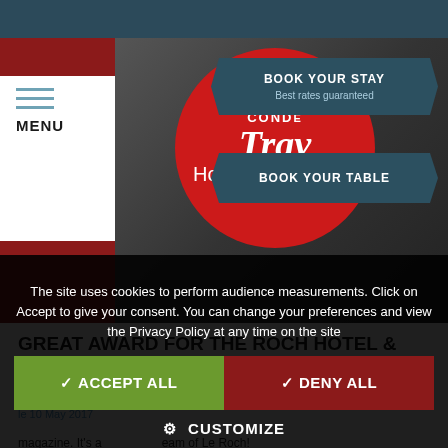[Figure (screenshot): Hotel website screenshot showing Condé Nast Traveler Hot List badge on hotel room photo background]
BOOK YOUR STAY
Best rates guaranteed
BOOK YOUR TABLE
GREAT AWARD FOR THE ROCH HOTEL & SPA
Posted in Roch News
le 10 May 2017
The site uses cookies to perform audience measurements. Click on Accept to give your consent. You can change your preferences and view the Privacy Policy at any time on the site
✓ ACCEPT ALL
✓ DENY ALL
⚙ CUSTOMIZE